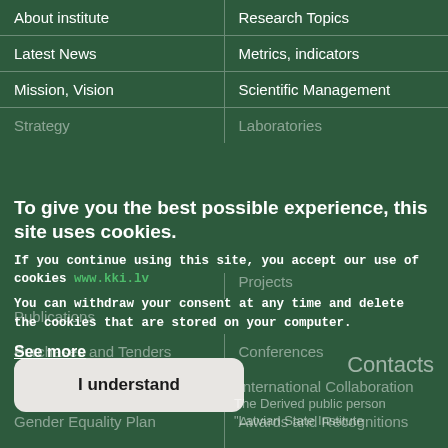About institute
Research Topics
Latest News
Metrics, indicators
Mission, Vision
Scientific Management
Strategy
Laboratories
To give you the best possible experience, this site uses cookies. If you continue using this site, you accept our use of cookies www.kki.lv You can withdraw your consent at any time and delete the cookies that are stored on your computer.
Projects
Publications
Purchases and Tenders
Conferences
Contacts
International Collaboration
Gender Equality Plan
Awards and Recognitions
See more
Whistleblowing
Students
Privacy Policy
Students Council
I understand
Contacts
The Derived public person "Latvian State Institute